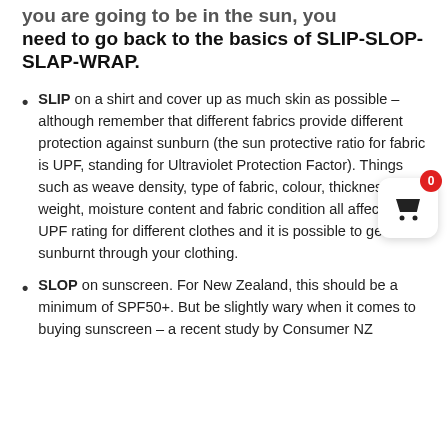you are going to be in the sun, you need to go back to the basics of SLIP-SLOP-SLAP-WRAP.
SLIP on a shirt and cover up as much skin as possible – although remember that different fabrics provide different protection against sunburn (the sun protective ratio for fabric is UPF, standing for Ultraviolet Protection Factor). Things such as weave density, type of fabric, colour, thickness, weight, moisture content and fabric condition all affect the UPF rating for different clothes and it is possible to get sunburnt through your clothing.
SLOP on sunscreen. For New Zealand, this should be a minimum of SPF50+. But be slightly wary when it comes to buying sunscreen – a recent study by Consumer NZ